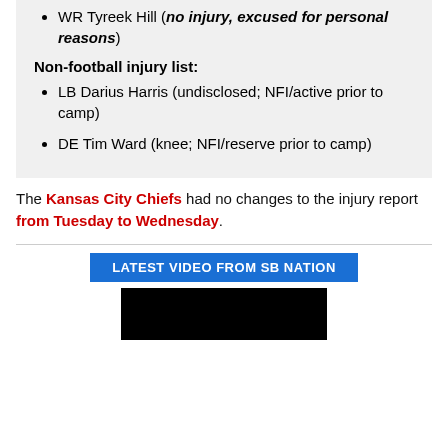WR Tyreek Hill (no injury, excused for personal reasons)
Non-football injury list:
LB Darius Harris (undisclosed; NFI/active prior to camp)
DE Tim Ward (knee; NFI/reserve prior to camp)
The Kansas City Chiefs had no changes to the injury report from Tuesday to Wednesday.
[Figure (other): Blue button labeled LATEST VIDEO FROM SB NATION]
[Figure (other): Black video thumbnail area]